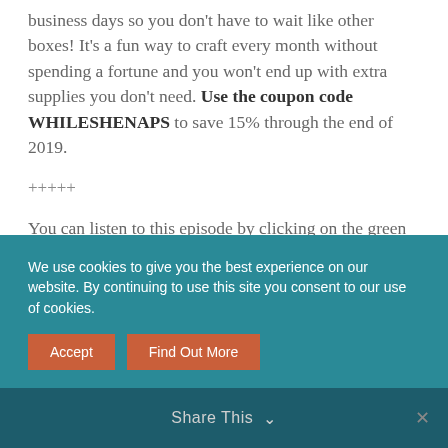business days so you don't have to wait like other boxes! It's a fun way to craft every month without spending a fortune and you won't end up with extra supplies you don't need. Use the coupon code WHILESHENAPS to save 15% through the end of 2019.
+++++
You can listen to this episode by clicking on the green arrow below, or subscribe to the Craft Industry Alliance podcast on iTunes or on Stitcher
We use cookies to give you the best experience on our website. By continuing to use this site you consent to our use of cookies.
Accept | Find Out More
Share This